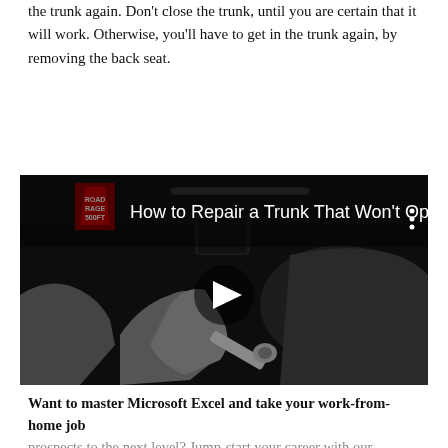the trunk again. Don't close the trunk, until you are certain that it will work. Otherwise, you'll have to get in the trunk again, by removing the back seat.
[Figure (screenshot): YouTube video thumbnail showing a person working inside a car trunk, with the video title 'How to Repair a Trunk That Won't Open...' and a Road Rage 500FT logo in the top left corner. A play button is visible in the center.]
Want to master Microsoft Excel and take your work-from-home job prospects to the next level? Jump-start your career with our Premium A-to-Z Microsoft Excel Training Bundle from the new